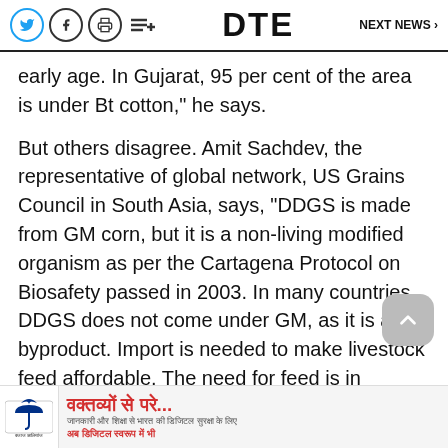DTE  NEXT NEWS >
early age. In Gujarat, 95 per cent of the area is under Bt cotton," he says.
But others disagree. Amit Sachdev, the representative of global network, US Grains Council in South Asia, says, "DDGS is made from GM corn, but it is a non-living modified organism as per the Cartagena Protocol on Biosafety passed in 2003. In many countries, DDGS does not come under GM, as it is a byproduct. Import is needed to make livestock feed affordable. The need for feed is in
[Figure (infographic): Advertisement banner with Hindi text 'वक्तव्यों से परे...' and small Hindi subtext, with Bajaj Allianz logo on the left]